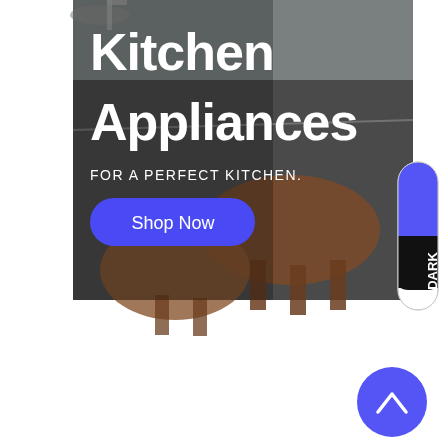[Figure (screenshot): E-commerce banner for Kitchen Appliances with a dark photographic background showing wooden bar stools, large white heading text 'Kitchen Appliances', subtitle 'FOR A PERFECT KITCHEN.', a blue rounded 'Shop Now' button, a vertical LIGHT/DARK mode toggle on the right edge, and a blue circular back-to-top arrow button in the lower right.]